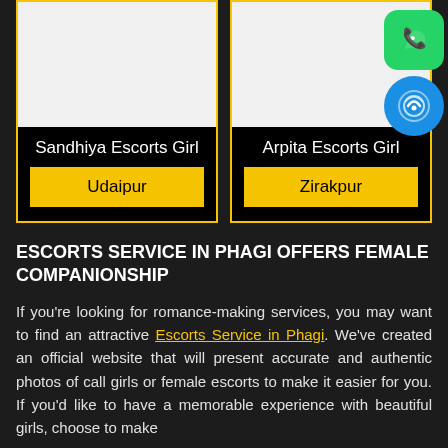[Figure (other): Two escort profile cards side by side. Left card: white image placeholder, title 'Sandhiya Escorts Girl', button 'Udaipur'. Right card: white image placeholder, title 'Arpita Escorts Girl', button 'Zirakpur'. Yellow borders. Two social icons top right: WhatsApp (green) and phone (blue).]
ESCORTS SERVICE IN PHAGI OFFERS FEMALE COMPANIONSHIP
If you're looking for romance-making services, you may want to find an attractive Escorts Service in Phagi. We've created an official website that will present accurate and authentic photos of call girls or female escorts to make it easier for you. If you'd like to have a memorable experience with beautiful girls, choose to make